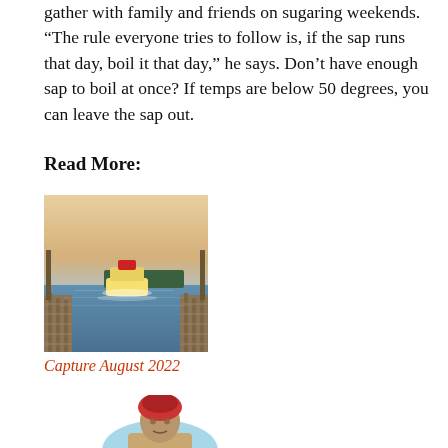gather with family and friends on sugaring weekends. “The rule everyone tries to follow is, if the sap runs that day, boil it that day,” he says. Don’t have enough sap to boil at once? If temps are below 50 degrees, you can leave the sap out.
Read More:
[Figure (photo): A ferry boat on water viewed from a wooden dock at sunset or dawn, with a warm sky in the background.]
Capture August 2022
[Figure (illustration): Partial illustration of a person wearing a red head covering, visible from the shoulders up against a light blue background.]